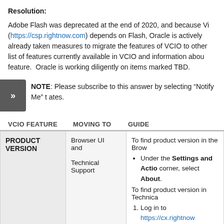Resolution:
Adobe Flash was deprecated at the end of 2020, and because Vi (https://csp.rightnow.com) depends on Flash, Oracle is actively taken measures to migrate the features of VCIO to other list of features currently available in VCIO and information abou feature.  Oracle is working diligently on items marked TBD.
NOTE: Please subscribe to this answer by selecting “Notify Me” t ates.
| VCIO FEATURE | MOVING TO | GUIDE |
| --- | --- | --- |
| PRODUCT VERSION | Browser UI and

Technical Support | To find product version in the Brow
• Under the Settings and Actio corner, select About.

To find product version in Technica
1. Log in to https://cx.rightnow |